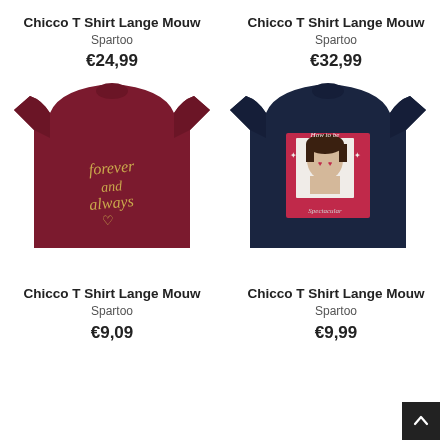Chicco T Shirt Lange Mouw
Spartoo
€24,99
[Figure (photo): Dark red/burgundy long-sleeve children's t-shirt with 'forever and always' golden script print and heart]
Chicco T Shirt Lange Mouw
Spartoo
€32,99
[Figure (photo): Navy blue long-sleeve children's t-shirt with 'How to be Spectacular' pink graphic print featuring a girl]
Chicco T Shirt Lange Mouw
Spartoo
€9,09
Chicco T Shirt Lange Mouw
Spartoo
€9,99